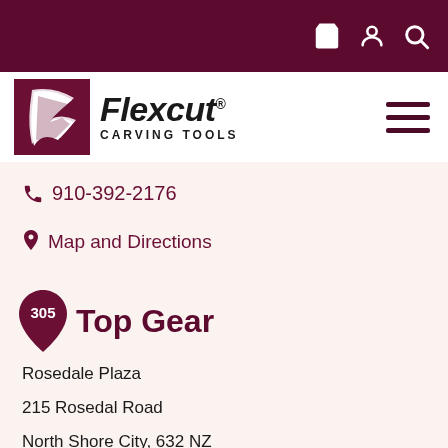[Figure (logo): Flexcut Carving Tools logo with dark red F icon and shopping/user/search icons in top bar]
910-392-2176
Map and Directions
Top Gear
Rosedale Plaza
215 Rosedal Road
North Shore City, 632 NZ